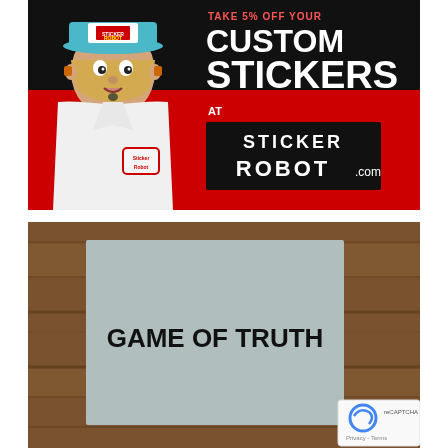[Figure (advertisement): Sticker Robot advertisement banner showing an illustrated character in a white lab coat and trucker hat, with text 'TAKE 5% OFF YOUR CUSTOM STICKERS AT STICKERROBOT.COM' on a red and black background]
[Figure (photo): Photograph of a gray square sticker/sign reading 'GAME OF TRUTH' in bold black uppercase letters, placed on a wooden surface]